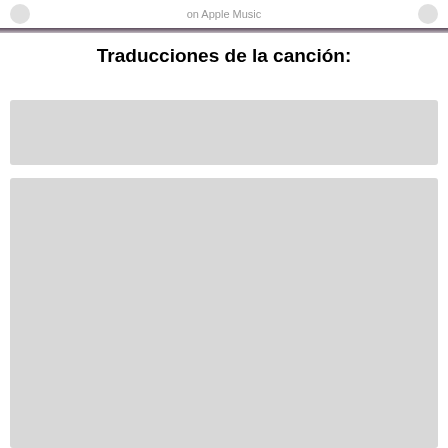on Apple Music
Traducciones de la canción:
[Figure (other): Gray placeholder loading box 1]
[Figure (other): Gray placeholder loading box 2]